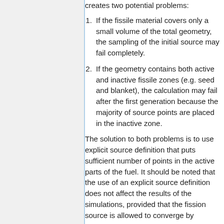creates two potential problems:
If the fissile material covers only a small volume of the total geometry, the sampling of the initial source may fail completely.
If the geometry contains both active and inactive fissile zones (e.g. seed and blanket), the calculation may fail after the first generation because the majority of source points are placed in the inactive zone.
The solution to both problems is to use explicit source definition that puts sufficient number of points in the active parts of the fuel. It should be noted that the use of an explicit source definition does not affect the results of the simulations, provided that the fission source is allowed to converge by